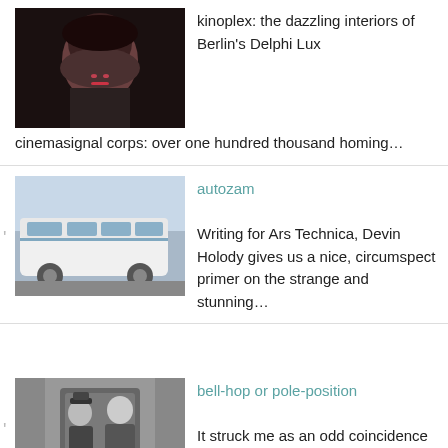[Figure (photo): Close-up photo of a woman with dark hair and red lipstick]
kinoplex: the dazzling interiors of Berlin's Delphi Lux cinemasignal corps: over one hundred thousand homing…
[Figure (photo): White van/minibus on a street]
autozam

Writing for Ars Technica, Devin Holody gives us a nice, circumspect primer on the strange and stunning…
[Figure (photo): Black and white photo of a bellhop or person in uniform]
bell-hop or pole-position

It struck me as an odd coincidence that I would be addressing the same subject